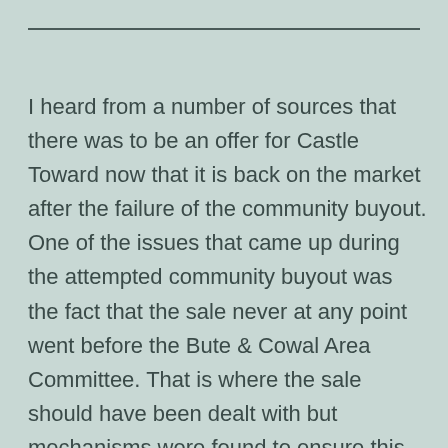I heard from a number of sources that there was to be an offer for Castle Toward now that it is back on the market after the failure of the community buyout. One of the issues that came up during the attempted community buyout was the fact that the sale never at any point went before the Bute & Cowal Area Committee. That is where the sale should have been dealt with but mechanisms were found to ensure this did not take place.